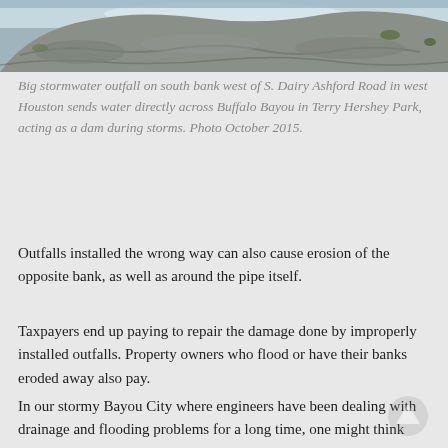[Figure (photo): Close-up photo of a rocky stone surface, likely a stormwater outfall structure near a bayou bank, with vegetation visible.]
Big stormwater outfall on south bank west of S. Dairy Ashford Road in west Houston sends water directly across Buffalo Bayou in Terry Hershey Park, acting as a dam during storms. Photo October 2015.
Outfalls installed the wrong way can also cause erosion of the opposite bank, as well as around the pipe itself.
Taxpayers end up paying to repair the damage done by improperly installed outfalls. Property owners who flood or have their banks eroded away also pay.
In our stormy Bayou City where engineers have been dealing with drainage and flooding problems for a long time, one might think